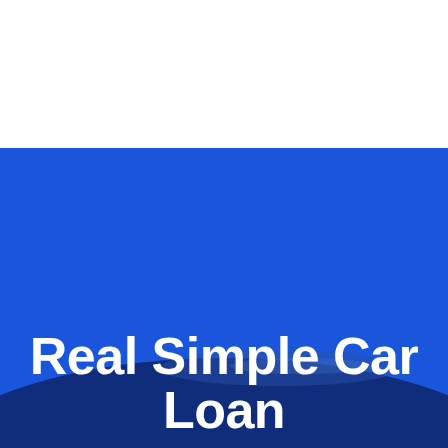[Figure (logo): Real Simple Car Loan logo with stylized RS and CL letters in black and light blue, with text REAL SIMPLE CAR LOAN beneath]
[Figure (other): Blue hamburger menu button with three white horizontal lines on a blue rounded-rectangle background]
[Figure (photo): Hero banner with bright blue background and a dark navy blue car silhouette visible in the lower portion]
Real Simple Car Loan